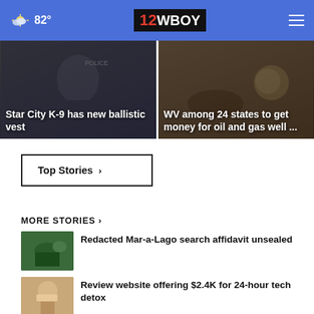82° | 12WBOY
[Figure (photo): News card: Star City K-9 has new ballistic vest, police officer with dog]
Star City K-9 has new ballistic vest
[Figure (photo): News card: WV among 24 states to get money for oil and gas well ...]
WV among 24 states to get money for oil and gas well ...
Top Stories ›
MORE STORIES ›
[Figure (photo): Thumbnail of Mar-a-Lago aerial view]
Redacted Mar-a-Lago search affidavit unsealed
[Figure (photo): Thumbnail of hands with phone/tech]
Review website offering $2.4K for 24-hour tech detox
[Figure (photo): Thumbnail of partially visible story]
Partially visible headline ...